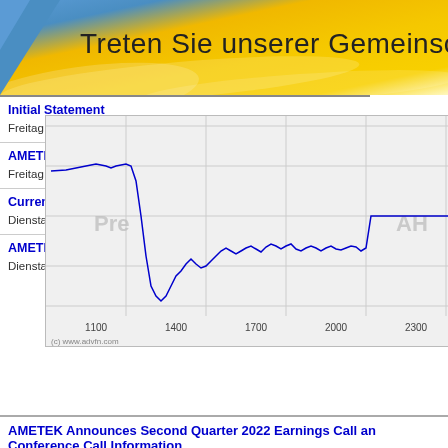[Figure (other): Banner with gradient background (blue to yellow/gold) and German text 'Treten Sie unserer Gemeinschaft']
Initial Statement
Freitag 5 August 2022
AMETEK Announces...
Freitag 5 August 2022
Current Report F...
Dienstag 2 August 2022
AMETEK Announces...
Dienstag 2 August 2022
[Figure (continuous-plot): Stock intraday chart showing price movement between 128.5 and 130, with x-axis labels 1100, 1400, 1700, 2000, 2300. Pre and AH watermarks visible. Blue line chart with red dot at end around 129.]
AMETEK Announces Second Quarter 2022 Earnings Call and Conference Call Information
Mittwoch 13 Juli 2022 (1 Monat vor) • PR Newswire (US)
Annual Report of Employee Stock Plans (11-k)
Donnerstag 23 Juni 2022 (2 Monate vor) • Edgar (US Regulatory)
Annual Report of Employee Stock Plans (11-k)
Donnerstag 23 Juni 2022 (2 Monate vor) • Edgar (US Regulatory)
Specialized Disclosure Report (sd)